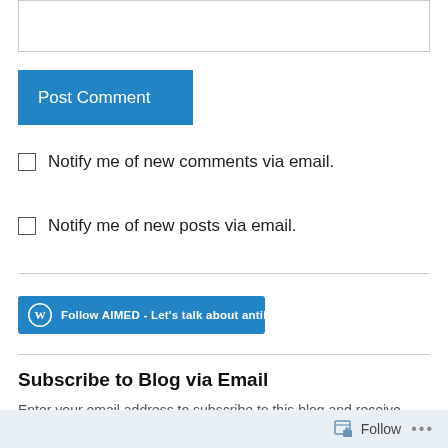[Figure (screenshot): Text input box (comment field) at the top of the page]
Post Comment
Notify me of new comments via email.
Notify me of new posts via email.
[Figure (screenshot): Follow AIMED - Let's talk about antibiotics button with WordPress icon]
Subscribe to Blog via Email
Enter your email address to subscribe to this blog and receive notifications of new posts by email.
Follow ...